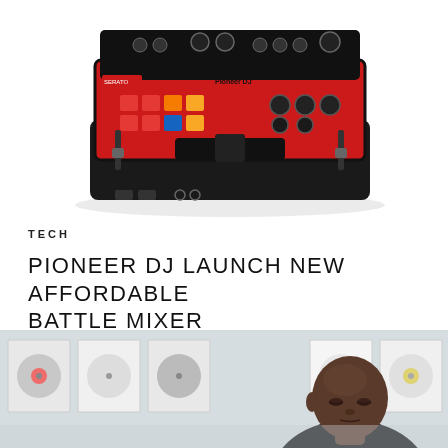[Figure (photo): Pioneer DJ battle mixer with red top panel, colorful performance pads, crossfader, and knobs on a white background]
TECH
PIONEER DJ LAUNCH NEW AFFORDABLE BATTLE MIXER
[Figure (photo): Bald Black man looking down, surrounded by vinyl record sleeves mounted on a white wall in the background]